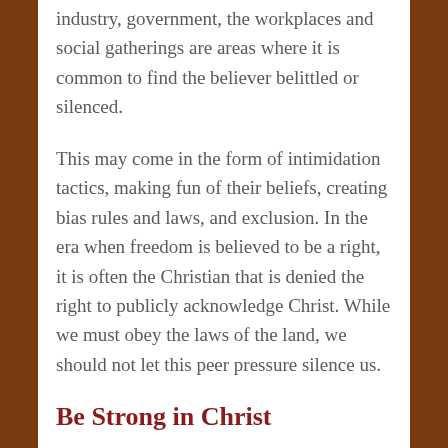industry, government, the workplaces and social gatherings are areas where it is common to find the believer belittled or silenced.
This may come in the form of intimidation tactics, making fun of their beliefs, creating bias rules and laws, and exclusion. In the era when freedom is believed to be a right, it is often the Christian that is denied the right to publicly acknowledge Christ. While we must obey the laws of the land, we should not let this peer pressure silence us.
Be Strong in Christ
It is a fact as believers we will come under attack. We must no be afraid of the